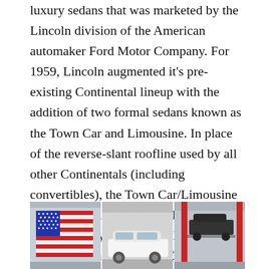luxury sedans that was marketed by the Lincoln division of the American automaker Ford Motor Company. For 1959, Lincoln augmented it's pre-existing Continental lineup with the addition of two formal sedans known as the Town Car and Limousine. In place of the reverse-slant roofline used by all other Continentals (including convertibles), the Town Car/Limousine was styled with a notchback roofline with a heavily padded vinyl top and an inset rear window. For 1973, Lincoln introduced a two-door variant of the Continental Town Car, named the Town Coupe. As with the Town Car, the Town Coupe offered a standard vinyl roof.
[Figure (photo): A garage interior showing an American flag on the left, a white car in the center bay, and a vintage dark-colored vehicle on a lift on the right, with red support columns visible.]